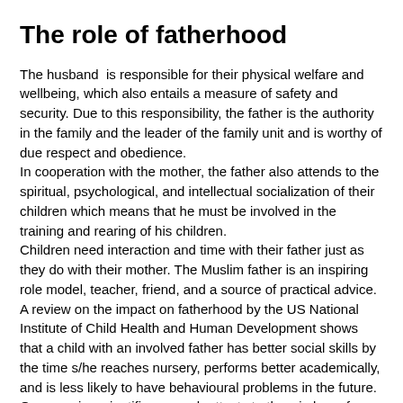The role of fatherhood
The husband  is responsible for their physical welfare and wellbeing, which also entails a measure of safety and security. Due to this responsibility, the father is the authority in the family and the leader of the family unit and is worthy of due respect and obedience.
In cooperation with the mother, the father also attends to the spiritual, psychological, and intellectual socialization of their children which means that he must be involved in the training and rearing of his children.
Children need interaction and time with their father just as they do with their mother. The Muslim father is an inspiring role model, teacher, friend, and a source of practical advice.
A review on the impact on fatherhood by the US National Institute of Child Health and Human Development shows that a child with an involved father has better social skills by the time s/he reaches nursery, performs better academically, and is less likely to have behavioural problems in the future.  Once again, scientific research attests to the wisdom of Islamic teachings.